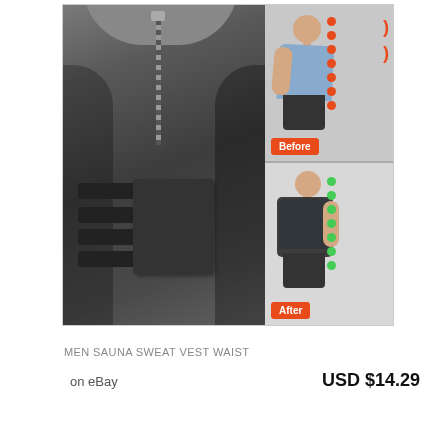[Figure (photo): Product photo of a men's sauna sweat vest/waist trainer in dark gray with zipper front and dual velcro waist straps. On the right side, before/after posture comparison images showing a person with orange dots along spine (before, slouched) and green dots along spine (after, upright), with orange 'Before' and 'After' labels.]
MEN SAUNA SWEAT VEST WAIST
on eBay
USD $14.29